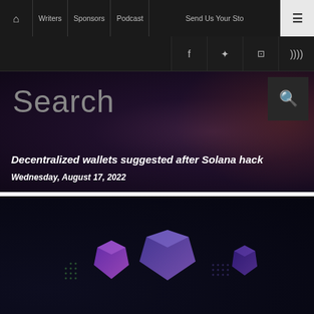Home | Writers | Sponsors | Podcast | Send Us Your Story | Menu
Facebook | Twitter | Instagram | RSS
Search
Decentralized wallets suggested after Solana hack
Wednesday, August 17, 2022
[Figure (photo): Dark background showing glowing 3D hexagon/gem shapes in purple and blue hues with dot grid patterns]